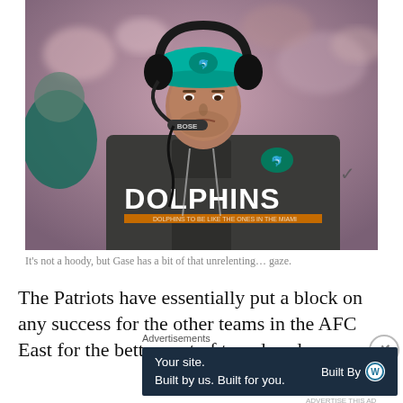[Figure (photo): A Miami Dolphins coach wearing a gray Dolphins hoodie and teal Dolphins cap with a Bose headset/microphone, looking downward with an intense expression. The background is blurred crowd.]
It's not a hoody, but Gase has a bit of that unrelenting… gaze.
The Patriots have essentially put a block on any success for the other teams in the AFC East for the better part of two decades.
Advertisements
[Figure (other): Advertisement banner: 'Your site. Built by us. Built for you.' with 'Built By W' WordPress logo on dark navy background.]